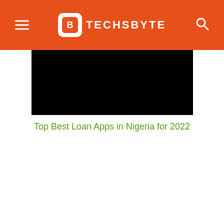TECHSBYTE
[Figure (photo): Black rectangular image placeholder on white background]
Top Best Loan Apps in Nigeria for 2022